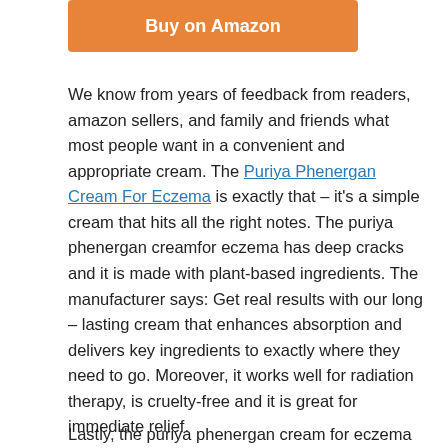[Figure (other): Orange 'Buy on Amazon' button]
We know from years of feedback from readers, amazon sellers, and family and friends what most people want in a convenient and appropriate cream. The Puriya Phenergan Cream For Eczema is exactly that – it's a simple cream that hits all the right notes. The puriya phenergan creamfor eczema has deep cracks and it is made with plant-based ingredients. The manufacturer says: Get real results with our long – lasting cream that enhances absorption and delivers key ingredients to exactly where they need to go. Moreover, it works well for radiation therapy, is cruelty-free and it is great for immediate relief.
Lastly, the puriya phenergan cream for eczema